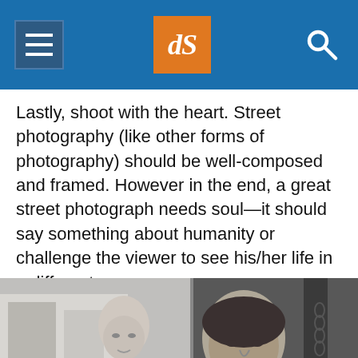dPS navigation header with menu, logo, and search
Lastly, shoot with the heart. Street photography (like other forms of photography) should be well-composed and framed. However in the end, a great street photograph needs soul—it should say something about humanity or challenge the viewer to see his/her life in a different way.
[Figure (photo): Black and white street photograph showing a bald woman and a man, side by side, in a collage-style composition]